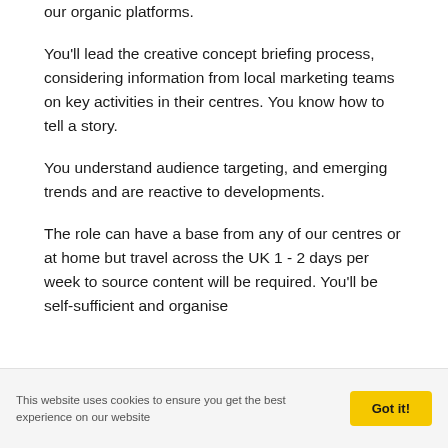our organic platforms.
You'll lead the creative concept briefing process, considering information from local marketing teams on key activities in their centres. You know how to tell a story.
You understand audience targeting, and emerging trends and are reactive to developments.
The role can have a base from any of our centres or at home but travel across the UK 1 - 2 days per week to source content will be required. You'll be self-sufficient and organise
This website uses cookies to ensure you get the best experience on our website